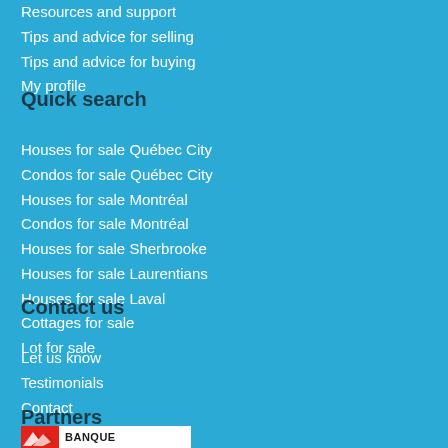Resources and support
Tips and advice for selling
Tips and advice for buying
My profile
Quick search
Houses for sale Québec City
Condos for sale Québec City
Houses for sale Montréal
Condos for sale Montréal
Houses for sale Sherbrooke
Houses for sale Laurentians
Houses for sale Laval
Cottages for sale
Lot for sale
Contact us
Let us know
Testimonials
Contact
Partners
[Figure (logo): Banque logo with red graphic and BANQUE text]